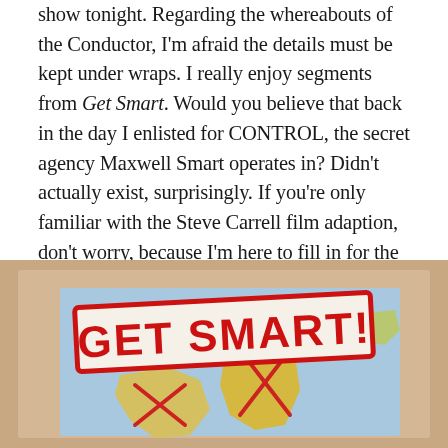show tonight. Regarding the whereabouts of the Conductor, I'm afraid the details must be kept under wraps. I really enjoy segments from Get Smart. Would you believe that back in the day I enlisted for CONTROL, the secret agency Maxwell Smart operates in? Didn't actually exist, surprisingly. If you're only familiar with the Steve Carrell film adaption, don't worry, because I'm here to fill in for the Conductor and look over the fruitful history of Mel Brooks and Buck Henry's Get Smart. Who knows, maybe this writing project will earn me a raise in the organization. Well, what am I stalling for?
[Figure (illustration): Hand-drawn illustration showing a 'GET SMART!' stamp in red bold letters over a world map drawing on a tan/brown background. The stamp has a red border rectangle. The world map beneath shows continents in green and yellow with blue oceans, with red X marks drawn over some regions.]